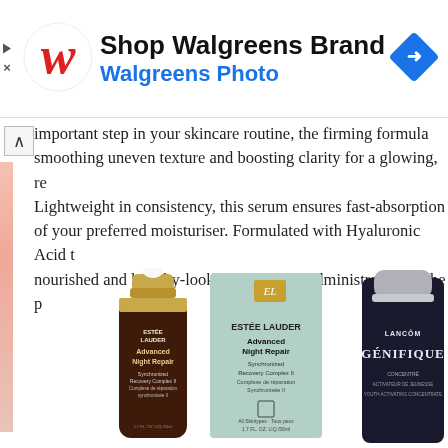[Figure (advertisement): Walgreens Brand advertisement banner with Walgreens logo (red cursive W), text 'Shop Walgreens Brand' in black bold, 'Walgreens Photo' in blue, and a blue diamond navigation icon on the right. Small collapse/close icons on the left side.]
important step in your skincare routine, the firming formula ... smoothing uneven texture and boosting clarity for a glowing, re... Lightweight in consistency, this serum ensures fast-absorption ... of your preferred moisturiser. Formulated with Hyaluronic Acid t... nourished and healthy-looking following administration of the p...
[Figure (photo): Product photo showing Estee Lauder Advanced Night Repair serum bottle (brown bottle with gold cap and dropper) alongside its teal/mint colored product box. Partially visible Lancome Genifique concentrate bottle on the right edge. Text on bottle reads: ESTEE LAUDER Advanced Night Repair Synchronized Recovery Complex II Complexe de réparation synchronisée II. Box text: ESTEE LAUDER Advanced Night Repair Synchronized Recovery Complex II Complexe de réparation Synchronisée II, All Skintypes / Tous peux, 1.7 FL. OZ. LIQ./50ml]